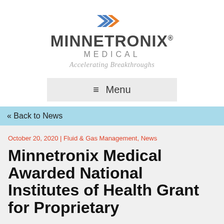[Figure (logo): Minnetronix Medical logo with double-arrow chevron icon in blue and orange, company name, and tagline 'Accelerating Breakthroughs']
≡ Menu
« Back to News
October 20, 2020 | Fluid & Gas Management, News
Minnetronix Medical Awarded National Institutes of Health Grant for Proprietary